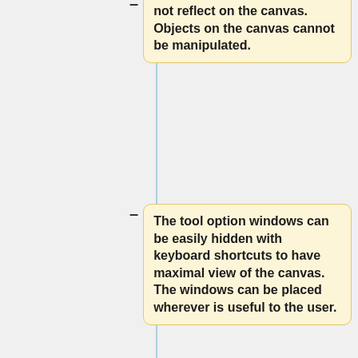not reflect on the canvas. Objects on the canvas cannot be manipulated.
The tool option windows can be easily hidden with keyboard shortcuts to have maximal view of the canvas. The windows can be placed wherever is useful to the user.
MyPaint has no concept of